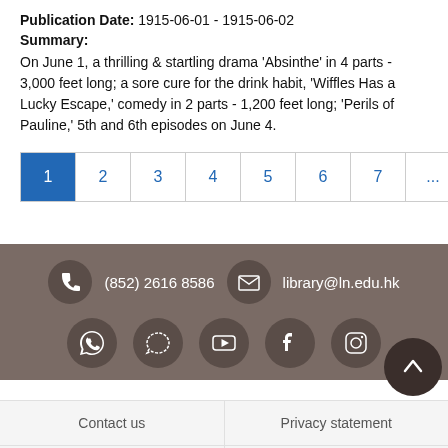Publication Date: 1915-06-01 - 1915-06-02
Summary:
On June 1, a thrilling & startling drama 'Absinthe' in 4 parts - 3,000 feet long; a sore cure for the drink habit, 'Wiffles Has a Lucky Escape,' comedy in 2 parts - 1,200 feet long; 'Perils of Pauline,' 5th and 6th episodes on June 4.
1 2 3 4 5 6 7 ... >> Last»
[Figure (infographic): Footer bar with phone number (852) 2616 8586, email library@ln.edu.hk, and social media icons for WhatsApp, chat, YouTube, Facebook, Instagram]
Contact us | Privacy statement | Disclaimer | Web accessibility